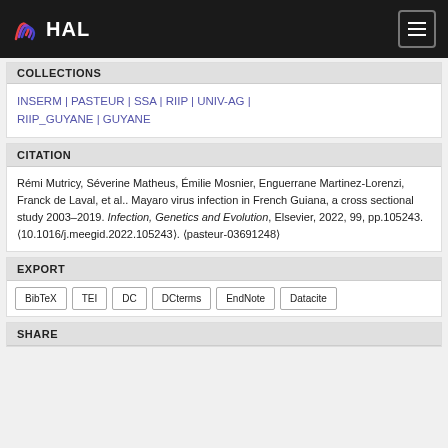HAL
COLLECTIONS
INSERM | PASTEUR | SSA | RIIP | UNIV-AG | RIIP_GUYANE | GUYANE
CITATION
Rémi Mutricy, Séverine Matheus, Émilie Mosnier, Enguerrane Martinez-Lorenzi, Franck de Laval, et al.. Mayaro virus infection in French Guiana, a cross sectional study 2003–2019. Infection, Genetics and Evolution, Elsevier, 2022, 99, pp.105243. ⟨10.1016/j.meegid.2022.105243⟩. ⟨pasteur-03691248⟩
EXPORT
BibTeX
TEI
DC
DCterms
EndNote
Datacite
SHARE